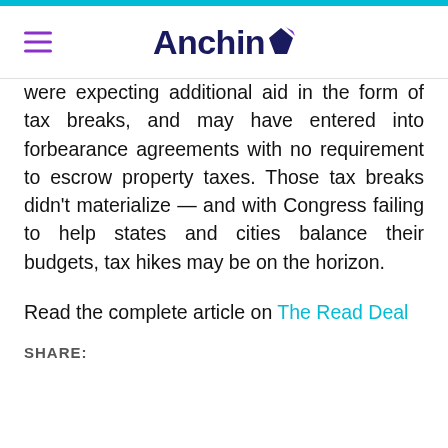Anchin
were expecting additional aid in the form of tax breaks, and may have entered into forbearance agreements with no requirement to escrow property taxes. Those tax breaks didn't materialize — and with Congress failing to help states and cities balance their budgets, tax hikes may be on the horizon.
Read the complete article on The Read Deal
SHARE: